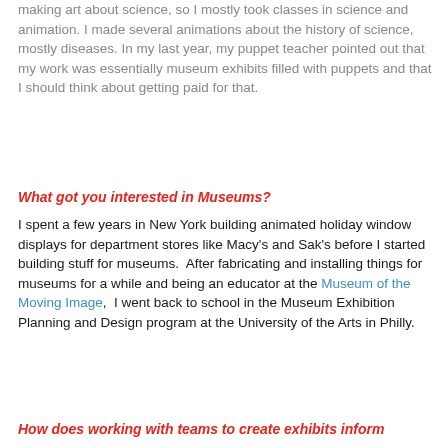making art about science, so I mostly took classes in science and animation. I made several animations about the history of science, mostly diseases. In my last year, my puppet teacher pointed out that my work was essentially museum exhibits filled with puppets and that I should think about getting paid for that.
What got you interested in Museums?
I spent a few years in New York building animated holiday window displays for department stores like Macy's and Sak's before I started building stuff for museums.  After fabricating and installing things for museums for a while and being an educator at the Museum of the Moving Image,  I went back to school in the Museum Exhibition Planning and Design program at the University of the Arts in Philly.
How does working with teams to create exhibits inform